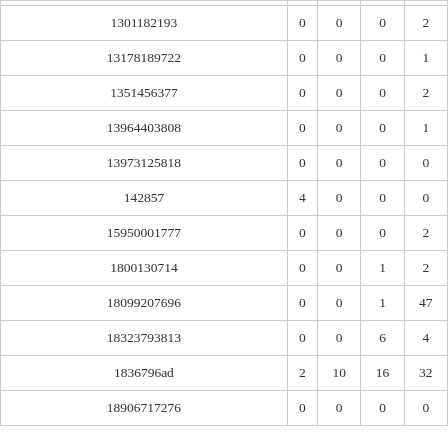| 1301182193 | 0 | 0 | 0 | 2 |
| 13178189722 | 0 | 0 | 0 | 1 |
| 1351456377 | 0 | 0 | 0 | 2 |
| 13964403808 | 0 | 0 | 0 | 1 |
| 13973125818 | 0 | 0 | 0 | 0 |
| 142857 | 4 | 0 | 0 | 0 |
| 15950001777 | 0 | 0 | 0 | 2 |
| 1800130714 | 0 | 0 | 1 | 2 |
| 18099207696 | 0 | 0 | 1 | 47 |
| 18323793813 | 0 | 0 | 6 | 4 |
| 1836796ad | 2 | 10 | 16 | 32 |
| 18906717276 | 0 | 0 | 0 | 0 |